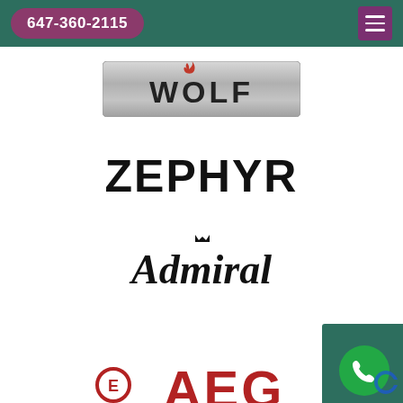647-360-2115
[Figure (logo): Wolf appliance brand logo — silver/grey metallic rectangular badge with the word WOLF in bold letters and a small red flame above the W]
[Figure (logo): ZEPHYR brand logo in bold black uppercase letters with a stylized Y]
[Figure (logo): Admiral brand logo in bold black italic script with a small crown above the i]
[Figure (logo): AEG brand logo in bold dark red letters with the Electrolux circle-E symbol to the left]